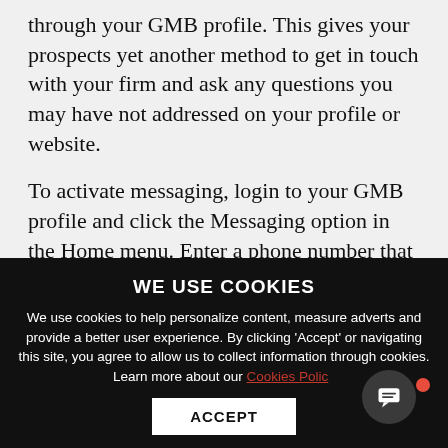through your GMB profile. This gives your prospects yet another method to get in touch with your firm and ask any questions you may have not addressed on your profile or website.
To activate messaging, login to your GMB profile and click the Messaging option in the Home menu. Enter a phone number that with SMS messaging capabilities, such as a cell phone—you will receive messages and have the ability to respond directly through...
WE USE COOKIES
We use cookies to help personalize content, measure adverts and provide a better user experience. By clicking 'Accept' or navigating this site, you agree to allow us to collect information through cookies. Learn more about our Cookies Policy